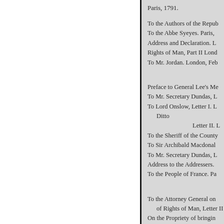Paris, 1791.
To the Authors of the Repub
To the Abbe Syeyes. Paris,
Address and Declaration. L
Rights of Man, Part II Lond
To Mr. Jordan. London, Feb
Preface to General Lee's Me
To Mr. Secretary Dundas, L
To Lord Onslow, Letter I. L
Ditto
Letter II. L
To the Sheriff of the County
To Sir Archibald Macdonal
To Mr. Secretary Dundas, L
Address to the Addressers.
To the People of France. Pa
To the Attorney General on
of Rights of Man, Letter II
On the Propriety of bringin